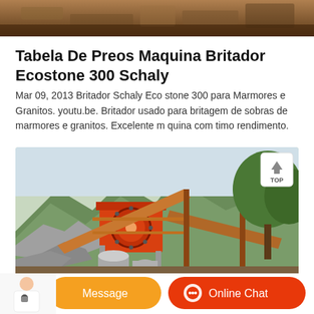[Figure (photo): Top partial photo showing rocky ground/construction site in brown and earth tones]
Tabela De Preos Maquina Britador Ecostone 300 Schaly
Mar 09, 2013 Britador Schaly Eco stone 300 para Marmores e Granitos. youtu.be. Britador usado para britagem de sobras de marmores e granitos. Excelente m quina com timo rendimento.
[Figure (photo): Photograph of a stone crusher machine (Britador) installed on a hillside with rocks, orange machinery, conveyor belts, and green trees in background. A TOP navigation button appears in the upper right corner.]
[Figure (other): Bottom bar with orange Message button and Online Chat button with chat icon, and a customer service avatar on the left]